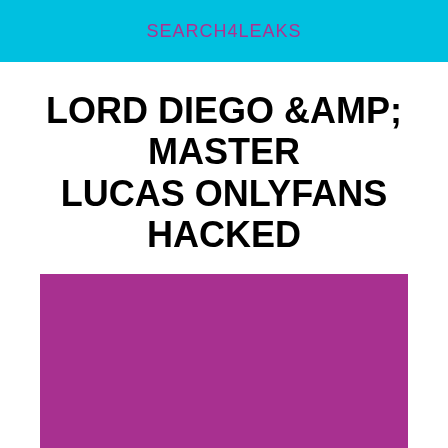SEARCH4LEAKS
LORD DIEGO &AMP; MASTER LUCAS ONLYFANS HACKED
[Figure (other): Solid magenta/purple colored rectangle placeholder image]